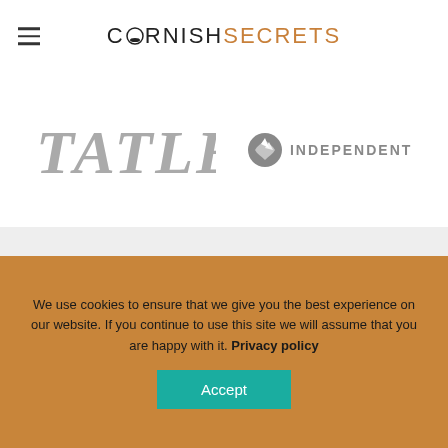CORNISH SECRETS
[Figure (logo): Tatler magazine logo in gray italic serif font]
[Figure (logo): The Independent newspaper logo with bird icon in gray]
We use cookies to ensure that we give you the best experience on our website. If you continue to use this site we will assume that you are happy with it. Privacy policy
Accept